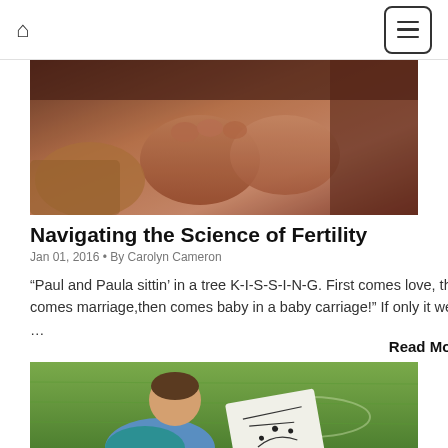Home | Menu
[Figure (photo): Close-up photograph of hands/fists, warm brown tones, cropped at top]
Navigating the Science of Fertility
Jan 01, 2016 • By Carolyn Cameron
“Paul and Paula sittin’ in a tree K-I-S-S-I-N-G. First comes love, then comes marriage,then comes baby in a baby carriage!” If only it were …
Read More »
[Figure (photo): Child sitting on grass looking at a paper with diagrams/plays drawn on it]